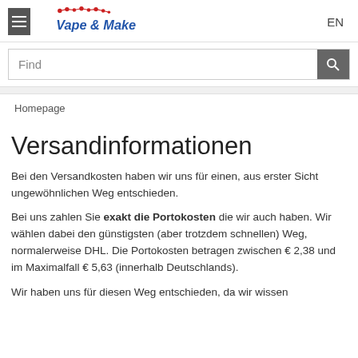Vape & Make  EN
Find
Homepage
Versandinformationen
Bei den Versandkosten haben wir uns für einen, aus erster Sicht ungewöhnlichen Weg entschieden.
Bei uns zahlen Sie exakt die Portokosten die wir auch haben. Wir wählen dabei den günstigsten (aber trotzdem schnellen) Weg, normalerweise DHL. Die Portokosten betragen zwischen € 2,38 und im Maximalfall € 5,63 (innerhalb Deutschlands).
Wir haben uns für diesen Weg entschieden, da wir wissen